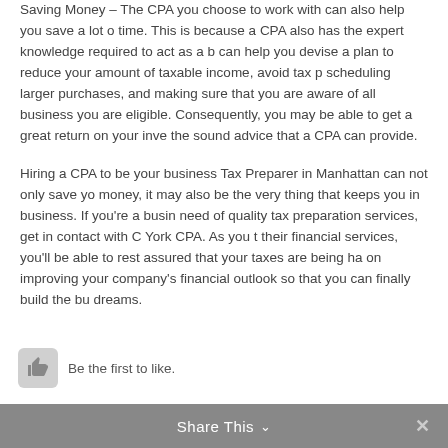Saving Money – The CPA you choose to work with can also help you save a lot of time. This is because a CPA also has the expert knowledge required to act as a b... can help you devise a plan to reduce your amount of taxable income, avoid tax p... scheduling larger purchases, and making sure that you are aware of all business... you are eligible. Consequently, you may be able to get a great return on your inv... the sound advice that a CPA can provide.
Hiring a CPA to be your business Tax Preparer in Manhattan can not only save yo... money, it may also be the very thing that keeps you in business. If you're a busin... need of quality tax preparation services, get in contact with C York CPA. As you t... their financial services, you'll be able to rest assured that your taxes are being ha... on improving your company's financial outlook so that you can finally build the bu... dreams.
Be the first to like.
Share This ∨  ✕